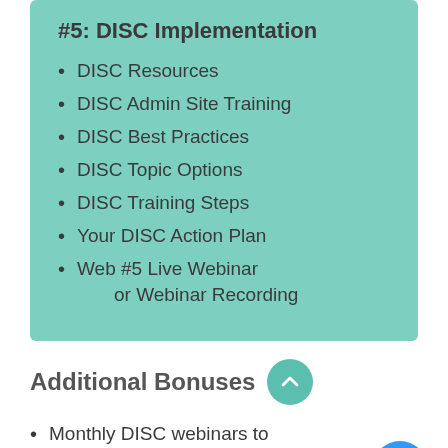#5: DISC Implementation
DISC Resources
DISC Admin Site Training
DISC Best Practices
DISC Topic Options
DISC Training Steps
Your DISC Action Plan
Web #5 Live Webinar or Webinar Recording
Additional Bonuses
Monthly DISC webinars to continue mastering facilitation techniques